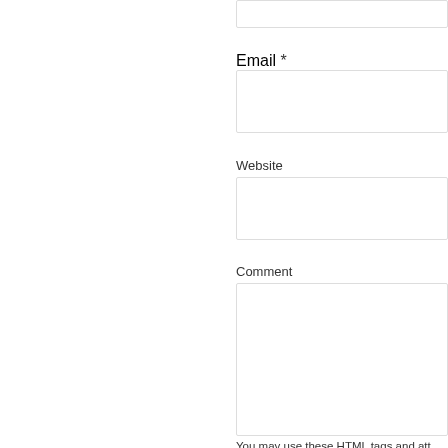(input field — top, partial)
Email *
Website
Comment
You may use these HTML tags and att